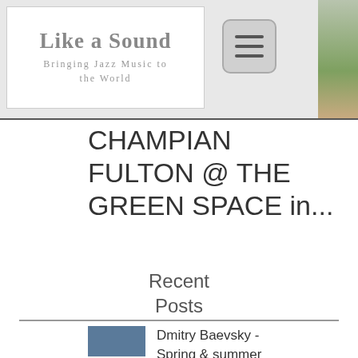Like a Sound — Bringing Jazz Music to the World
CHAMPIAN FULTON @ THE GREEN SPACE in...
Recent Posts
Dmitry Baevsky - Spring & summer concerts!